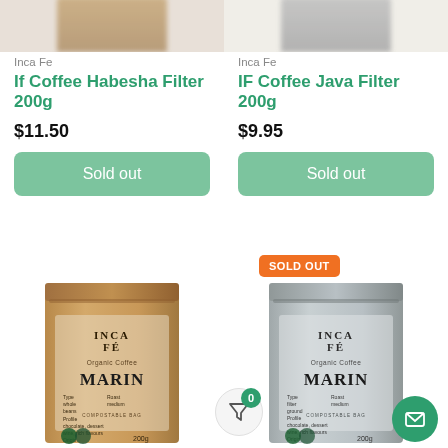[Figure (photo): Partial top view of two coffee product bags, blurred, cropped at top of page]
Inca Fe
If Coffee Habesha Filter 200g
$11.50
Sold out
Inca Fe
IF Coffee Java Filter 200g
$9.95
Sold out
[Figure (photo): Inca Fe Organic Coffee MARIN brown kraft paper bag 200g with Fairtrade logo]
[Figure (photo): Inca Fe Organic Coffee MARIN silver/grey bag 200g with SOLD OUT badge and Fairtrade logo]